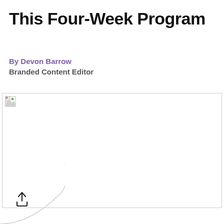This Four-Week Program
By Devon Barrow
Branded Content Editor
[Figure (photo): Image placeholder with broken image icon — image failed to load, showing empty white rectangle with border and broken image indicator in top-left corner]
[Figure (other): Share/upload icon button at bottom left with quarter-circle arc background element]